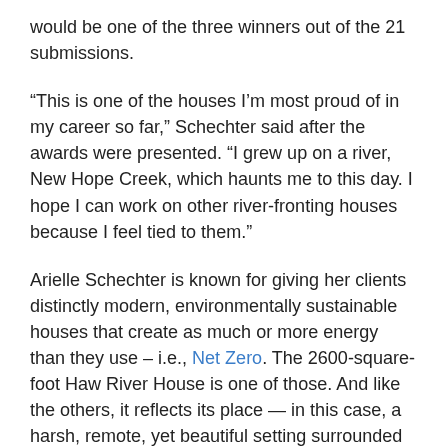would be one of the three winners out of the 21 submissions.
“This is one of the houses I’m most proud of in my career so far,” Schechter said after the awards were presented. “I grew up on a river, New Hope Creek, which haunts me to this day. I hope I can work on other river-fronting houses because I feel tied to them.”
Arielle Schechter is known for giving her clients distinctly modern, environmentally sustainable houses that create as much or more energy than they use – i.e., Net Zero. The 2600-square-foot Haw River House is one of those. And like the others, it reflects its place — in this case, a harsh, remote, yet beautiful setting surrounded by a forest. Cantilevered decks and porches echo the angles of old trees that grow out over the water from the rocky riverbank. The butterfly roof references a huge, cleft boulder on the property that acts as a natural trough for rainwater.